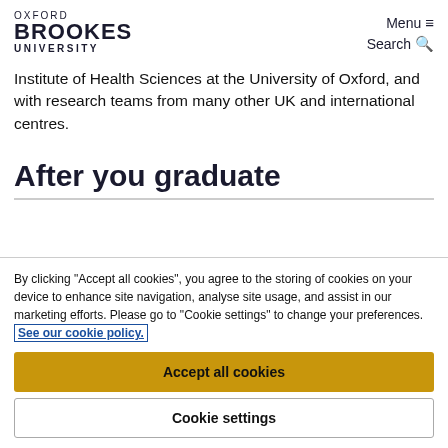OXFORD BROOKES UNIVERSITY | Menu ≡ | Search 🔍
Institute of Health Sciences at the University of Oxford, and with research teams from many other UK and international centres.
After you graduate
By clicking "Accept all cookies", you agree to the storing of cookies on your device to enhance site navigation, analyse site usage, and assist in our marketing efforts. Please go to "Cookie settings" to change your preferences. See our cookie policy.
Accept all cookies
Cookie settings